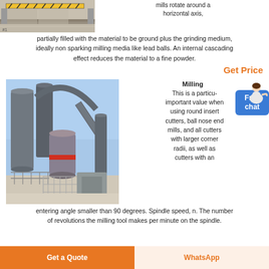[Figure (photo): Industrial facility interior with overhead crane/yellow beam visible]
mills rotate around a horizontal axis, partially filled with the material to be ground plus the grinding medium, ideally non sparking milling media like lead balls. An internal cascading effect reduces the material to a fine powder.
Get Price
[Figure (photo): Outdoor industrial milling equipment with large cylindrical vessels, pipes, and metal structure]
Milling
This is a particularly important value when using round insert cutters, ball nose end mills, and all cutters with larger corner radii, as well as cutters with an entering angle smaller than 90 degrees. Spindle speed, n. The number of revolutions the milling tool makes per minute on the spindle.
Get a Quote
WhatsApp